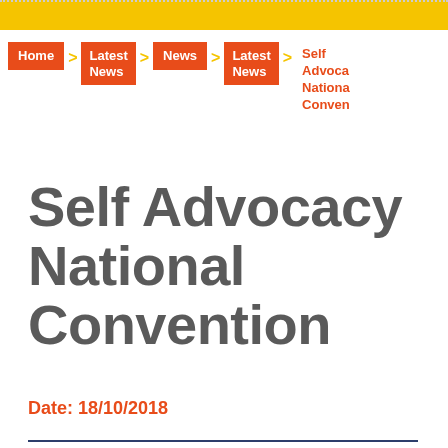Home > Latest News > News > Latest News > Self Advocacy National Convention
Self Advocacy National Convention
Date: 18/10/2018